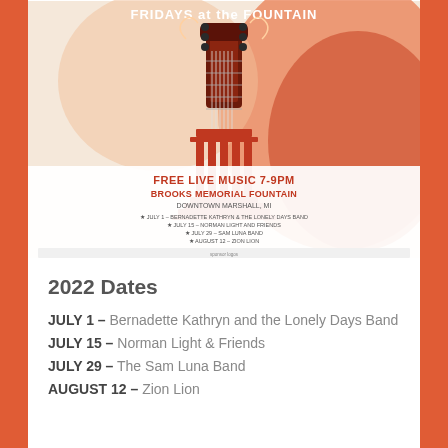[Figure (illustration): Event poster for Fridays at the Fountain. Shows a guitar headstock above a classical column/fountain structure on an orange/red watercolor background. Text reads: FREE LIVE MUSIC 7-9PM, BROOKS MEMORIAL FOUNTAIN, DOWNTOWN MARSHALL, MI. Lists dates: July 1 - Bernadette Kathryn & The Lonely Days Band, July 15 - Norman Light and Friends, July 29 - Sam Luna Band, August 12 - Zion Lion. Sponsor logos at bottom.]
2022 Dates
JULY 1 – Bernadette Kathryn and the Lonely Days Band
JULY 15 – Norman Light & Friends
JULY 29 – The Sam Luna Band
AUGUST 12 – Zion Lion